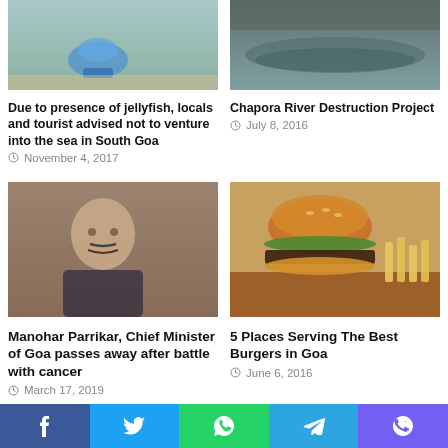[Figure (photo): Photo of jellyfish or blue sea creature near sand]
Due to presence of jellyfish, locals and tourist advised not to venture into the sea in South Goa
November 4, 2017
[Figure (photo): Aerial or river view of Chapora River]
Chapora River Destruction Project
July 8, 2016
[Figure (photo): Photo of Manohar Parrikar, Chief Minister of Goa]
Manohar Parrikar, Chief Minister of Goa passes away after battle with cancer
March 17, 2019
[Figure (photo): Photo of a burger with fries]
5 Places Serving The Best Burgers in Goa
June 6, 2016